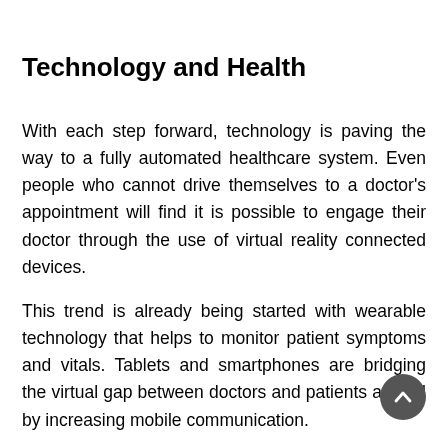Technology and Health
With each step forward, technology is paving the way to a fully automated healthcare system. Even people who cannot drive themselves to a doctor's appointment will find it is possible to engage their doctor through the use of virtual reality connected devices.
This trend is already being started with wearable technology that helps to monitor patient symptoms and vitals. Tablets and smartphones are bridging the virtual gap between doctors and patients as well by increasing mobile communication.